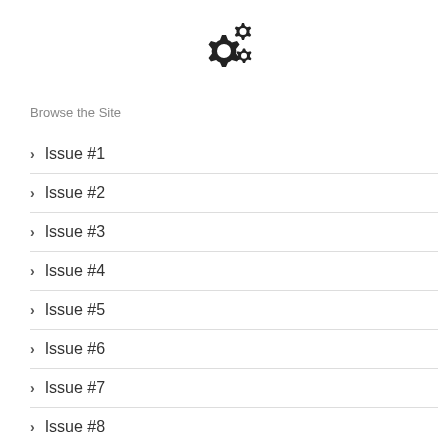[Figure (illustration): Two gear/cog icons overlapping, forming a settings or tools symbol]
Browse the Site
> Issue #1
> Issue #2
> Issue #3
> Issue #4
> Issue #5
> Issue #6
> Issue #7
> Issue #8